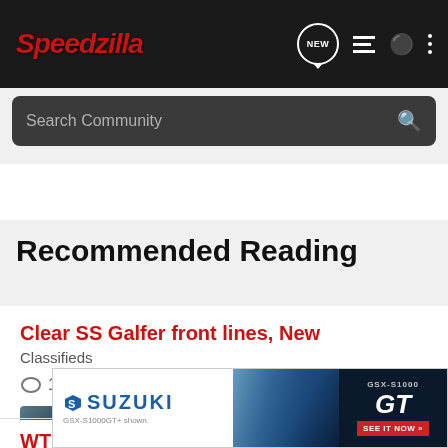Speedzilla — NEW [icon] [list icon] [user icon] [more icon]
Search Community
Recommended Reading
Clear SS Galfer front lines, New
Classifieds
💬 1  👁 645
b.miller123 · updated Oct 24, 2009
WTB - late model SS wheels/rotors
Ducati C
[Figure (screenshot): Suzuki GSX-S1000GT advertisement banner showing motorcycle and GT logo with 'SEE IT NOW >>' button]